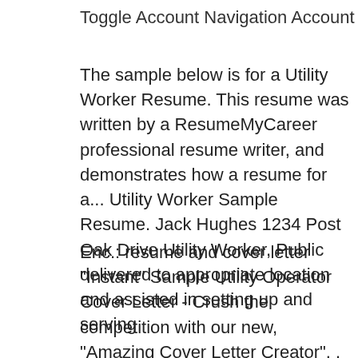Toggle Account Navigation Account
The sample below is for a Utility Worker Resume. This resume was written by a ResumeMyCareer professional resume writer, and demonstrates how a resume for a... Utility Worker Sample Resume. Jack Hughes 1234 Post Oak Drive Utility Worker, Public delivered to appropriate location and assisted in setting up and serving
Enc.: resume and cover letter "Instant" Sample Utility Operator Cover Letter - Crush the competition with our new, "Amazing Cover Letter Creator". . . CareerOneStop's Resume Guide can help you polish your resume to stand